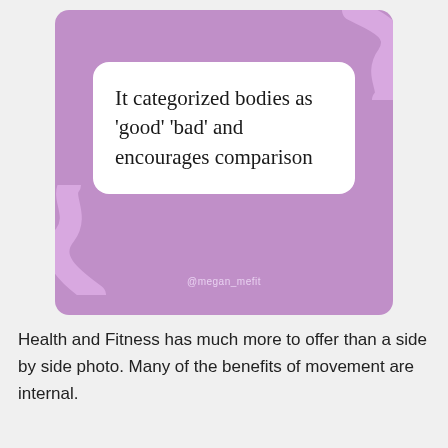[Figure (infographic): Purple square social media card with white rounded rectangle containing quote text 'It categorized bodies as good bad and encourages comparison', with decorative swirl shapes in lighter purple, and @megan_mefit attribution at bottom]
Health and Fitness has much more to offer than a side by side photo. Many of the benefits of movement are internal.